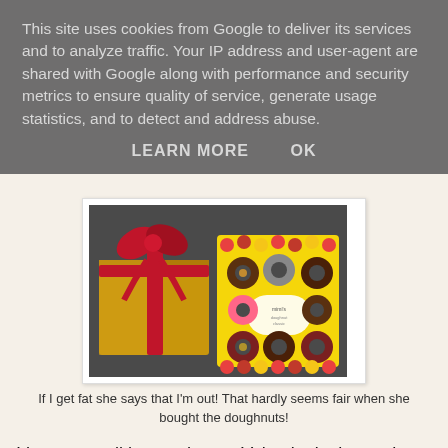This site uses cookies from Google to deliver its services and to analyze traffic. Your IP address and user-agent are shared with Google along with performance and security metrics to ensure quality of service, generate usage statistics, and to detect and address abuse.
LEARN MORE    OK
[Figure (photo): A wrapped gold gift box with a red ribbon bow on the left, and a colorful box of assorted doughnuts on the right, placed on a dark surface.]
If I get fat she says that I'm out! That hardly seems fair when she bought the doughnuts!
I hope you all have a happy Valentine's day and share some puzzling with your loved one(s)!
Remember to contact me if you know the answer to my